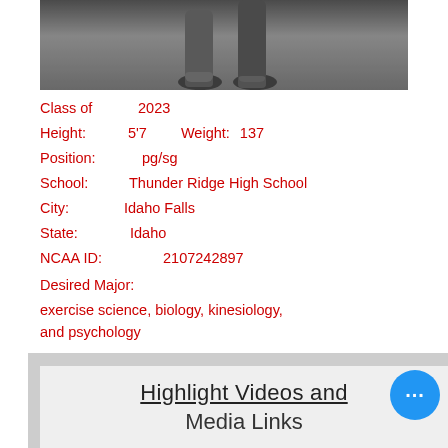[Figure (photo): Black and white photo showing lower body of an athlete running or moving, shoes and legs visible against a blurred background]
Class of    2023
Height:    5'7          Weight:     137
Position:        pg/sg
School:    Thunder Ridge High School
City:        Idaho Falls
State:       Idaho
NCAA ID:          2107242897
Desired Major:
exercise science, biology, kinesiology, and psychology
[Figure (screenshot): Card showing 'Highlight Videos and Media Links' text with blue ellipsis button overlay]